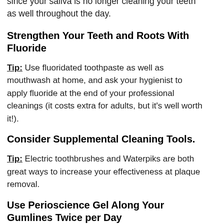since your saliva is no longer cleaning your teeth as well throughout the day.
Strengthen Your Teeth and Roots With Fluoride
Tip: Use fluoridated toothpaste as well as mouthwash at home, and ask your hygienist to apply fluoride at the end of your professional cleanings (it costs extra for adults, but it’s well worth it!).
Consider Supplemental Cleaning Tools.
Tip: Electric toothbrushes and Waterpiks are both great ways to increase your effectiveness at plaque removal.
Use Perioscience Gel Along Your Gumlines Twice per Day